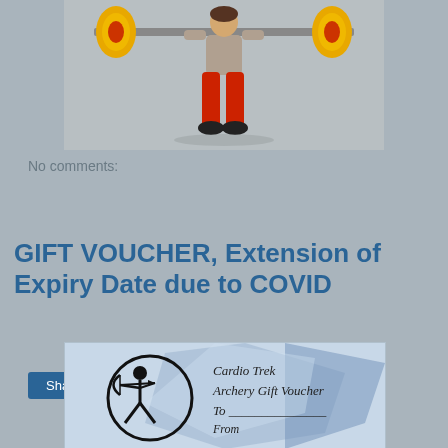[Figure (photo): Woman in red pants and sports bra doing a barbell squat outdoors, yellow and red bumper plates visible on barbell]
No comments:
Share
GIFT VOUCHER, Extension of Expiry Date due to COVID
[Figure (photo): Cardio Trek Archery Gift Voucher with archery figure logo and cursive text: Cardio Trek Archery Gift Voucher, To ___, From ___]